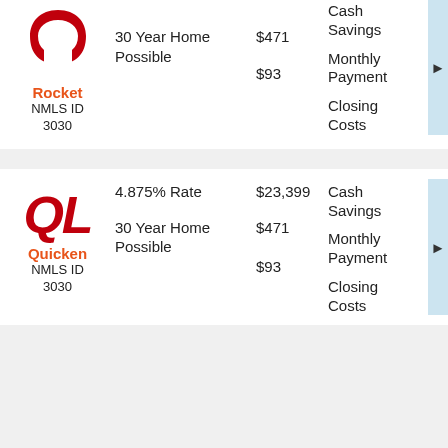[Figure (logo): Rocket Mortgage red horseshoe logo]
Rocket
NMLS ID 3030
4.875% Rate
30 Year Home Possible
$23,399
$471
$93
Cash Savings
Monthly Payment
Closing Costs
[Figure (logo): Quicken Loans QL red italic logo]
Quicken
NMLS ID 3030
4.875% Rate
30 Year Home Possible
$23,399
$471
$93
Cash Savings
Monthly Payment
Closing Costs